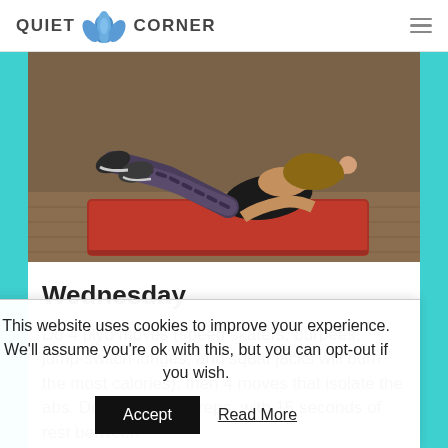QUIET CORNER
[Figure (photo): Woman performing an ab exercise on a red yoga mat, wearing black sports top and dark patterned leggings, lying on her side with legs raised.]
Wednesday
Do 4 plyo moves (speed skaters, burpees, jump-switch lunges, and squat jacks will burn the most calories), then 4 moves that isolate the abs. Do 3 sets of 12 reps, with 15 seconds of rest between
This website uses cookies to improve your experience. We'll assume you're ok with this, but you can opt-out if you wish.